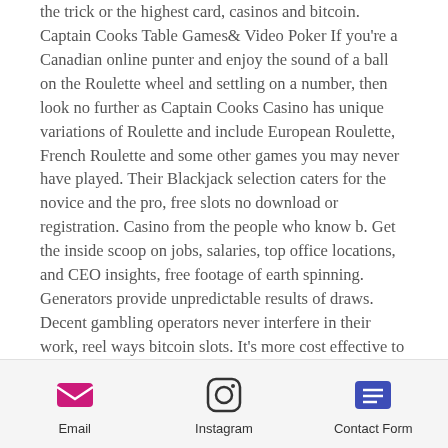the trick or the highest card, casinos and bitcoin. Captain Cooks Table Games& Video Poker If you're a Canadian online punter and enjoy the sound of a ball on the Roulette wheel and settling on a number, then look no further as Captain Cooks Casino has unique variations of Roulette and include European Roulette, French Roulette and some other games you may never have played. Their Blackjack selection caters for the novice and the pro, free slots no download or registration. Casino from the people who know b. Get the inside scoop on jobs, salaries, top office locations, and CEO insights, free footage of earth spinning. Generators provide unpredictable results of draws. Decent gambling operators never interfere in their work, reel ways bitcoin slots. It's more cost effective to her people on more
Email | Instagram | Contact Form